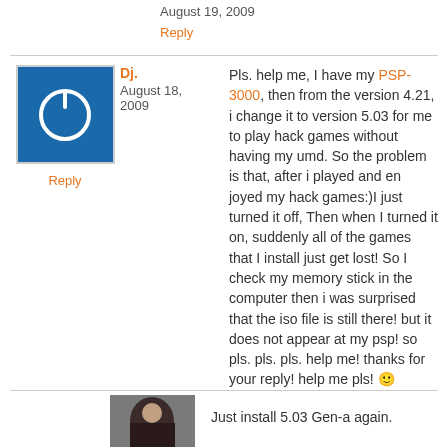August 19, 2009
Reply
Dj.
August 18, 2009
Reply
Pls. help me, I have my PSP-3000, then from the version 4.21, i change it to version 5.03 for me to play hack games without having my umd. So the problem is that, after i played and en joyed my hack games:)I just turned it off, Then when I turned it on, suddenly all of the games that I install just get lost! So I check my memory stick in the computer then i was surprised that the iso file is still there! but it does not appear at my psp! so pls. pls. pls. help me! thanks for your reply! help me pls! 🙂
Just install 5.03 Gen-a again.